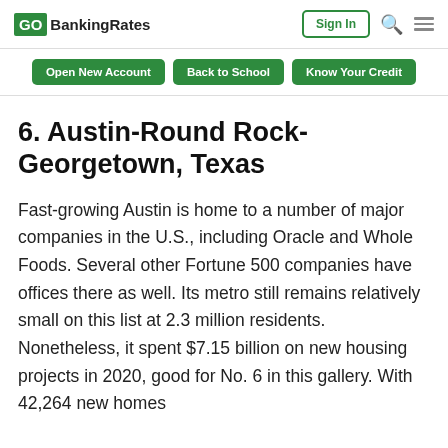GOBankingRates
6. Austin-Round Rock-Georgetown, Texas
Fast-growing Austin is home to a number of major companies in the U.S., including Oracle and Whole Foods. Several other Fortune 500 companies have offices there as well. Its metro still remains relatively small on this list at 2.3 million residents. Nonetheless, it spent $7.15 billion on new housing projects in 2020, good for No. 6 in this gallery. With 42,264 new homes